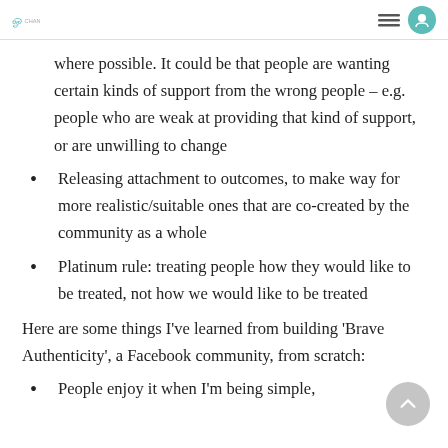where possible. It could be that people are wanting certain kinds of support from the wrong people – e.g. people who are weak at providing that kind of support, or are unwilling to change
Releasing attachment to outcomes, to make way for more realistic/suitable ones that are co-created by the community as a whole
Platinum rule: treating people how they would like to be treated, not how we would like to be treated
Here are some things I've learned from building 'Brave Authenticity', a Facebook community, from scratch:
People enjoy it when I'm being simple,